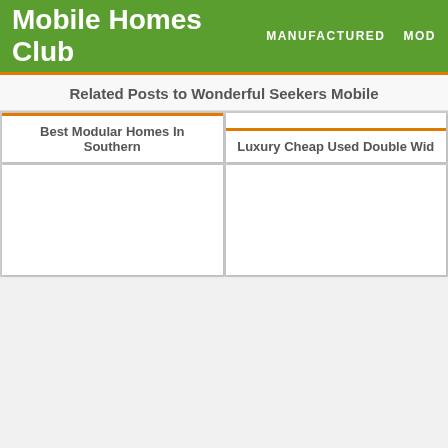Mobile Homes Club
MANUFACTURED   MOD
Related Posts to Wonderful Seekers Mobile
[Figure (photo): Blank white image placeholder for card 1]
Best Modular Homes In Southern
[Figure (photo): Blank white image placeholder for card 2]
Luxury Cheap Used Double Wid
[Figure (photo): Blank white image placeholder for card 3]
[Figure (photo): Blank white image placeholder for card 4]